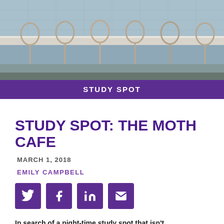[Figure (photo): Interior of a cafe showing a long marble counter table with wooden bentwood chairs lined up along it, tiled wall in background]
STUDY SPOT
STUDY SPOT: THE MOTH CAFE
MARCH 1, 2018
EMILY CAMPBELL
[Figure (infographic): Social share buttons: Twitter, Facebook, LinkedIn, Email]
In search of a night-time study spot that isn't